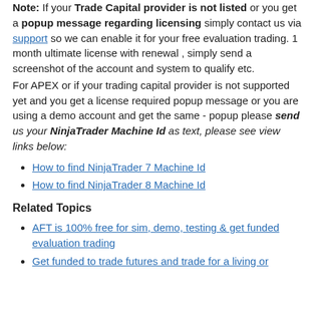Note: If your Trade Capital provider is not listed or you get a popup message regarding licensing simply contact us via support so we can enable it for your free evaluation trading. 1 month ultimate license with renewal , simply send a screenshot of the account and system to qualify etc.
For APEX or if your trading capital provider is not supported yet and you get a license required popup message or you are using a demo account and get the same - popup please send us your NinjaTrader Machine Id as text, please see view links below:
How to find NinjaTrader 7 Machine Id
How to find NinjaTrader 8 Machine Id
Related Topics
AFT is 100% free for sim, demo, testing & get funded evaluation trading
Get funded to trade futures and trade for a living or